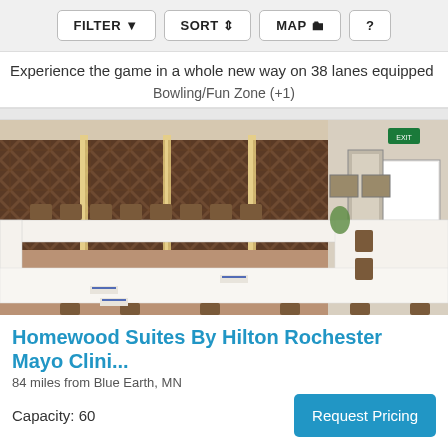FILTER  SORT  MAP  ?
Experience the game in a whole new way on 38 lanes equipped
Bowling/Fun Zone (+1)
[Figure (photo): Conference room with U-shaped table arrangement, white tablecloths, brown chairs, plaid curtains on windows, whiteboard visible on right side]
Homewood Suites By Hilton Rochester Mayo Clini...
84 miles from Blue Earth, MN
Capacity: 60
Request Pricing